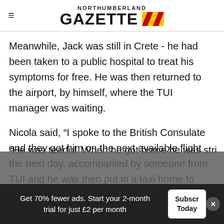NORTHUMBERLAND GAZETTE
Meanwhile, Jack was still in Crete - he had been taken to a public hospital to treat his symptoms for free. He was then returned to the airport, by himself, where the TUI manager was waiting.
Nicola said, “I spoke to the British Consulate and they got him on the next available flight the next day, accompanied by someone from TUI and he was then put in a taxi home to Swansea.”
“He was tearful. When he got home he was stri...
Get 70% fewer ads. Start your 2-month trial for just £2 per month